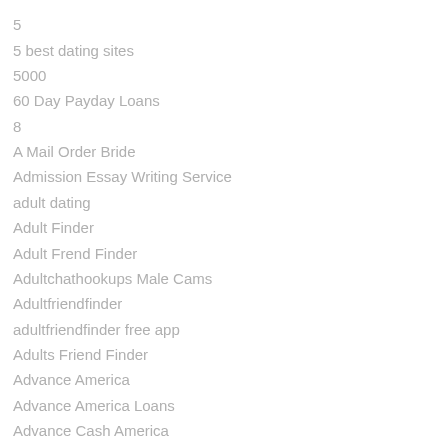5
5 best dating sites
5000
60 Day Payday Loans
8
A Mail Order Bride
Admission Essay Writing Service
adult dating
Adult Finder
Adult Frend Finder
Adultchathookups Male Cams
Adultfriendfinder
adultfriendfinder free app
Adults Friend Finder
Advance America
Advance America Loans
Advance Cash America